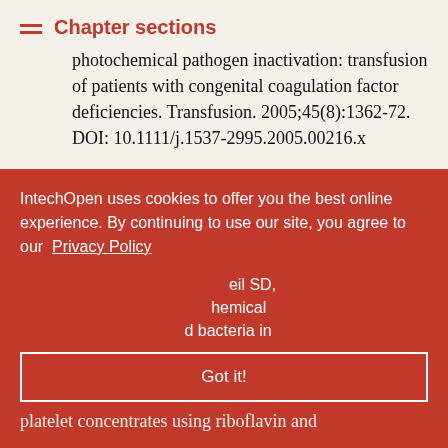Chapter sections
photochemical pathogen inactivation: transfusion of patients with congenital coagulation factor deficiencies. Transfusion. 2005;45(8):1362-72. DOI: 10.1111/j.1537-2995.2005.00216.x
169. Hornsey VS, Drummond O, Morrison A, McMillan L, MacGregor IR, Prowse CV. Pathogen reduction of fresh plasma using riboflavin and ultraviolet light: effects on plasma coagulation proteins. Transfusion. [DOI: ...j.1537-...]
IntechOpen uses cookies to offer you the best online experience. By continuing to use our site, you agree to our Privacy Policy
Got it!
...eil SD, ...chemical ...d bacteria in platelet concentrates using riboflavin and